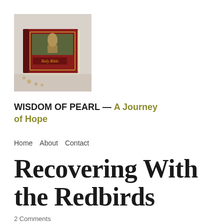[Figure (photo): Photo of a red Holy Bible book lying on a decorative surface with beads/rosary nearby]
WISDOM OF PEARL — A Journey of Hope
Home   About   Contact
Recovering With the Redbirds
2 Comments